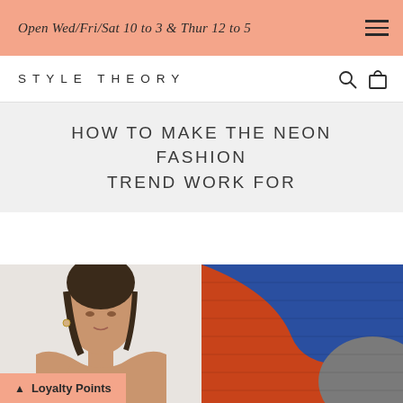Open Wed/Fri/Sat 10 to 3 & Thur 12 to 5
STYLE THEORY
HOW TO MAKE THE NEON FASHION TREND WORK FOR
[Figure (photo): Woman with dark hair looking over her shoulder, bare shoulders, light background]
[Figure (photo): Close-up of colorful fabric with orange, blue, and grey tones]
Loyalty Points